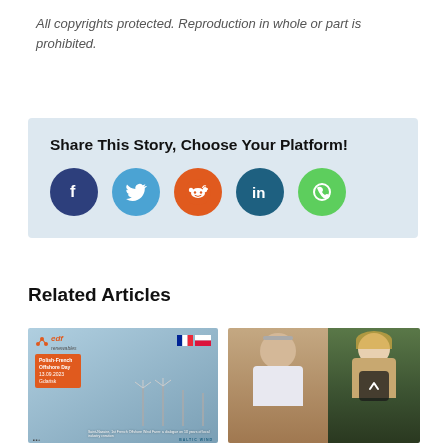All copyrights protected. Reproduction in whole or part is prohibited.
Share This Story, Choose Your Platform!
[Figure (infographic): Social media sharing icons: Facebook (dark blue), Twitter (light blue), Reddit (orange), LinkedIn (teal), WhatsApp (green)]
Related Articles
[Figure (photo): EDF Renewables Polish-French Offshore Day event image with wind turbines, dated 13.09.2023 Gdańsk, with French and Polish flags]
[Figure (photo): Two people portraits side by side, one older man with grey hair, one younger woman with blonde hair]